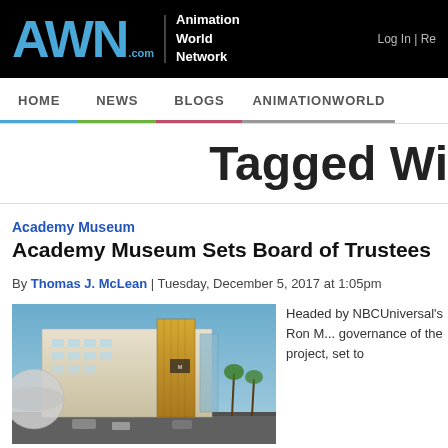AWN.com Animation World Network | Log In | Re
HOME | NEWS | BLOGS | ANIMATIONWORLD
Tagged Wi
Academy Museum
Academy Museum Sets Board of Trustees
By Thomas J. McLean | Tuesday, December 5, 2017 at 1:05pm
[Figure (photo): Exterior rendering/photo of the Academy Museum building, a modern structure with a large spherical dome element and glass facade, photographed at dusk.]
Headed by NBCUniversal's Ron M... governance of the project, set to